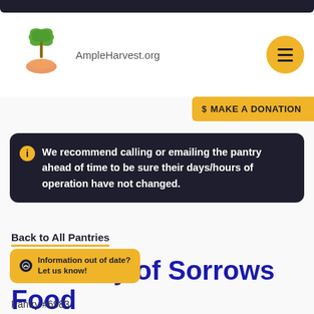[Figure (logo): AmpleHarvest.org logo with palm tree and hands graphic]
[Figure (other): Golden circular hamburger menu button with three horizontal lines]
$ MAKE A DONATION
We recommend calling or emailing the pantry ahead of time to be sure their days/hours of operation have not changed.
Back to All Pantries
Our Lady of Sorrows Food Pantry
Information out of date? Let us know!
Pantry #6983